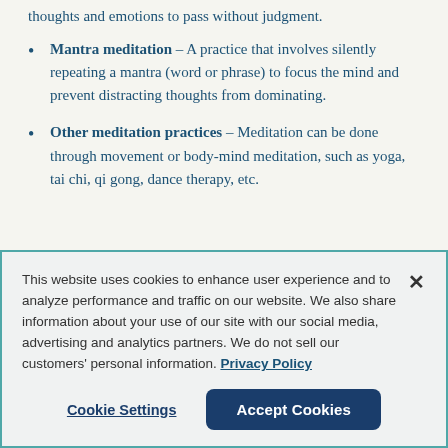thoughts and emotions to pass without judgment.
Mantra meditation – A practice that involves silently repeating a mantra (word or phrase) to focus the mind and prevent distracting thoughts from dominating.
Other meditation practices – Meditation can be done through movement or body-mind meditation, such as yoga, tai chi, qi gong, dance therapy, etc.
This website uses cookies to enhance user experience and to analyze performance and traffic on our website. We also share information about your use of our site with our social media, advertising and analytics partners. We do not sell our customers' personal information. Privacy Policy
Cookie Settings | Accept Cookies